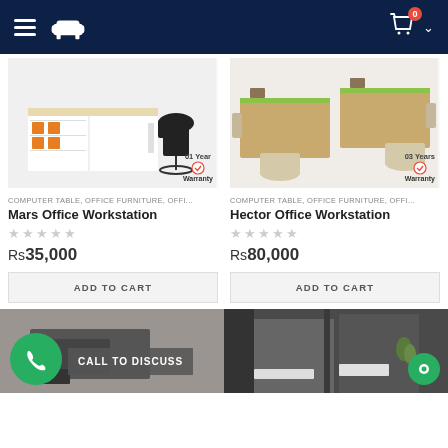Navigation header with hamburger menu, sofa furniture logo, shopping cart icon with badge 0
[Figure (photo): Mars Office Workstation product photo - white desk with shelves and black office chair, with 01 Year Warranty badge]
[Figure (photo): Hector Office Workstation product photo - wood finish multi-desk workstation with cream chairs, with 03 Years Warranty badge]
COMPUTER TABLE, OFFICE FURNITURE, OFFI...
COMPUTER TABLE, OFFICE FURNITURE, OFFI...
Mars Office Workstation
Hector Office Workstation
Rs35,000
Rs80,000
ADD TO CART
ADD TO CART
[Figure (photo): Bottom left partial product image - dark workstation]
[Figure (photo): Bottom right partial product image - dark grey office cubicle workstation]
CALL TO DISCUSS